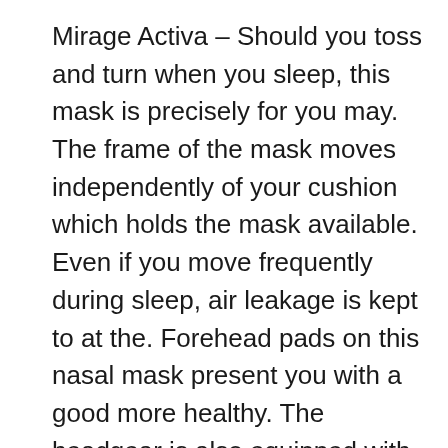Mirage Activa – Should you toss and turn when you sleep, this mask is precisely for you may. The frame of the mask moves independently of your cushion which holds the mask available. Even if you move frequently during sleep, air leakage is kept to at the. Forehead pads on this nasal mask present you with a good more healthy. The headgear is also equipped with quick release clips.
Take Work. Your health is your health, and nobody may do more to affect it than people. No matter where you're from, what your environment is, who your parents are, what anybody did or did not do, specialized control from the you do on an every day